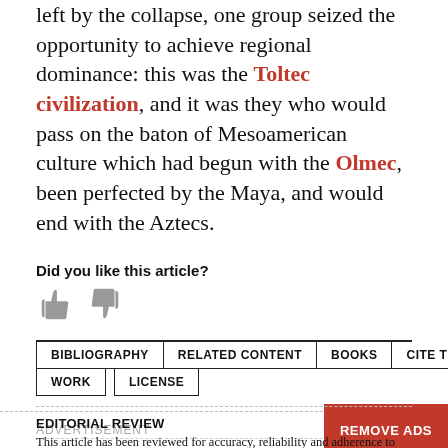left by the collapse, one group seized the opportunity to achieve regional dominance: this was the Toltec civilization, and it was they who would pass on the baton of Mesoamerican culture which had begun with the Olmec, been perfected by the Maya, and would end with the Aztecs.
Did you like this article?
[Figure (illustration): Thumbs up and thumbs down icons in grey]
BIBLIOGRAPHY | RELATED CONTENT | BOOKS | CITE THIS WORK | LICENSE
EDITORIAL REVIEW
This article has been reviewed for accuracy, reliability and adherence to academic standards prior to publication.
ADVERTISEMENT
REMOVE ADS